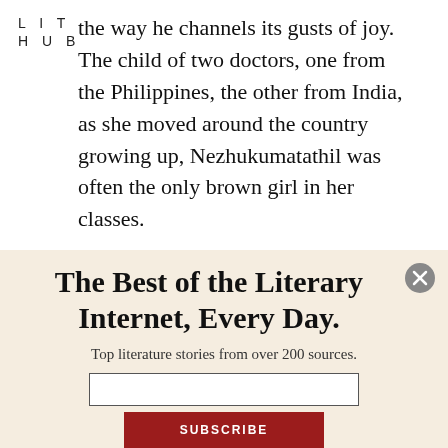LIT
HUB
the way he channels its gusts of joy. The child of two doctors, one from the Philippines, the other from India, as she moved around the country growing up, Nezhukumatathil was often the only brown girl in her classes.
The Best of the Literary Internet, Every Day.
Top literature stories from over 200 sources.
SUBSCRIBE